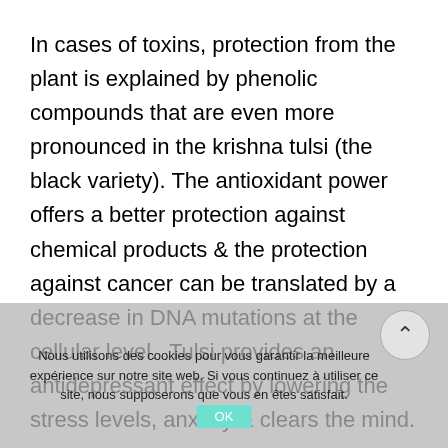In cases of toxins, protection from the plant is explained by phenolic compounds that are even more pronounced in the krishna tulsi (the black variety). The antioxidant power offers a better protection against chemical products & the protection against cancer can be translated by a decrease in DNA mutations at the cellular level. Tulsi provides an antidepressant effect by lowering the stress levels, anxiety & clears the mind. Tulsi can be consumed as a juice, thea or simply dried up and powdered with hot water, honey or milk depending on the case.
Nous utilisons des cookies pour vous garantir la meilleure expérience sur notre site web. Si vous continuez à utiliser ce site, nous supposerons que vous en êtes satisfait.